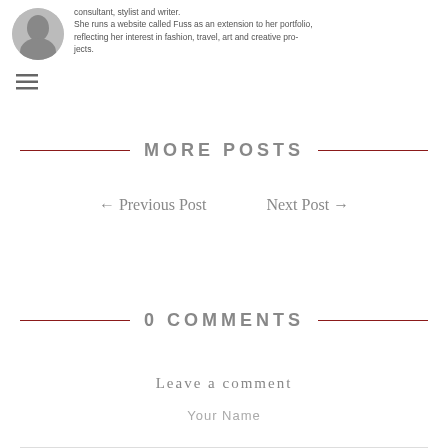[Figure (photo): Circular portrait photo of a person in black and white, positioned at top left]
consultant, stylist and writer. She runs a website called Fuss as an extension to her portfolio, reflecting her interest in fashion, travel, art and creative projects.
[Figure (other): Hamburger menu icon (three horizontal lines)]
MORE POSTS
← Previous Post   Next Post →
0 COMMENTS
Leave a comment
Your Name